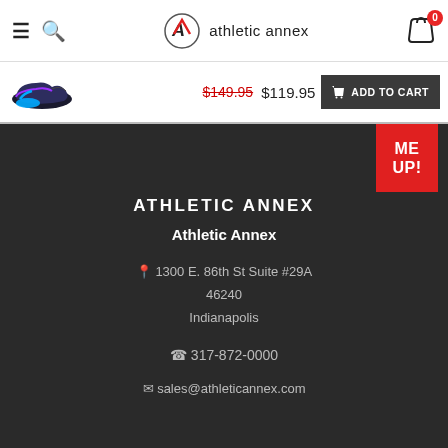athletic annex
$149.95 $119.95 ADD TO CART
[Figure (screenshot): Athletic Annex e-commerce page screenshot showing header, product price bar, and store contact footer on dark background]
ATHLETIC ANNEX
Athletic Annex
1300 E. 86th St Suite #29A
46240
Indianapolis
317-872-0000
sales@athleticannex.com